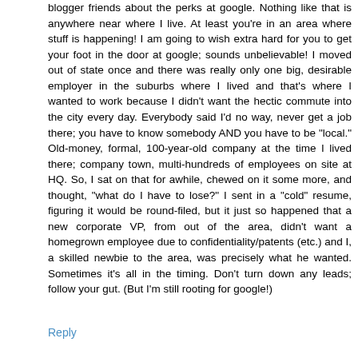blogger friends about the perks at google. Nothing like that is anywhere near where I live. At least you're in an area where stuff is happening! I am going to wish extra hard for you to get your foot in the door at google; sounds unbelievable! I moved out of state once and there was really only one big, desirable employer in the suburbs where I lived and that's where I wanted to work because I didn't want the hectic commute into the city every day. Everybody said I'd no way, never get a job there; you have to know somebody AND you have to be "local." Old-money, formal, 100-year-old company at the time I lived there; company town, multi-hundreds of employees on site at HQ. So, I sat on that for awhile, chewed on it some more, and thought, "what do I have to lose?" I sent in a "cold" resume, figuring it would be round-filed, but it just so happened that a new corporate VP, from out of the area, didn't want a homegrown employee due to confidentiality/patents (etc.) and I, a skilled newbie to the area, was precisely what he wanted. Sometimes it's all in the timing. Don't turn down any leads; follow your gut. (But I'm still rooting for google!)
Reply